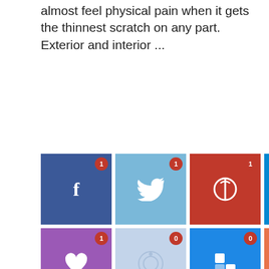almost feel physical pain when it gets the thinnest scratch on any part. Exterior and interior ...
[Figure (infographic): Social share buttons grid: 2 rows of social media icons (Facebook, Twitter, Pinterest, LinkedIn, Tumblr in row 1; Heart/Love, Reddit, Square/Share, Plus/Add in row 2), each with a red notification badge showing share count (1, 1, 1, 8, 1 / 1, 0, 0, 0)]
READ MORE ›
[Figure (photo): Dark moody photo of stacked black zen stones with gold metallic ring/band resting on top, on a dark background]